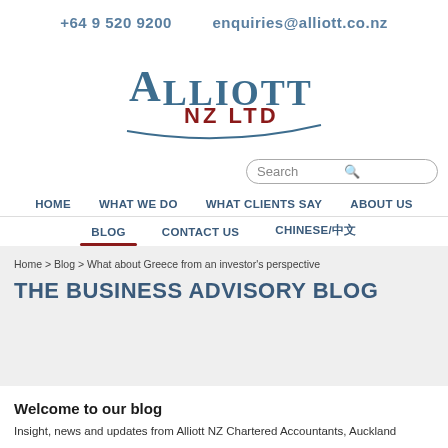+64 9 520 9200   enquiries@alliott.co.nz
[Figure (logo): Alliott NZ Ltd logo with stylised text 'ALLIOTT' in steel blue and 'NZ LTD' in dark red, with a curved underline]
[Figure (screenshot): Search bar with placeholder text 'Search' and a magnifier icon]
HOME   WHAT WE DO   WHAT CLIENTS SAY   ABOUT US   BLOG   CONTACT US   CHINESE/中文
Home > Blog > What about Greece from an investor's perspective
THE BUSINESS ADVISORY BLOG
Welcome to our blog
Insight, news and updates from Alliott NZ Chartered Accountants, Auckland